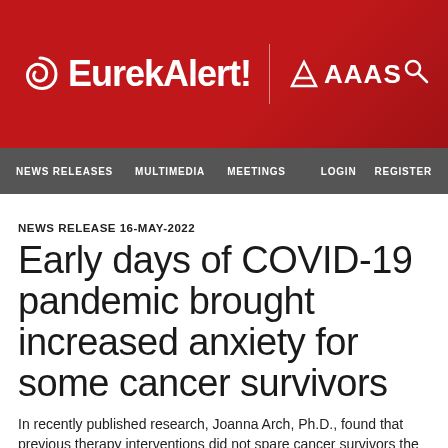[Figure (logo): EurekAlert! website header with red background, EurekAlert! logo with spiral icon, vertical divider, AAAS logo, and search icon]
NEWS RELEASES   MULTIMEDIA   MEETINGS   LOGIN   REGISTER
NEWS RELEASE 16-MAY-2022
Early days of COVID-19 pandemic brought increased anxiety for some cancer survivors
In recently published research, Joanna Arch, Ph.D., found that previous therapy interventions did not spare cancer survivors the stresses of the pandemic.